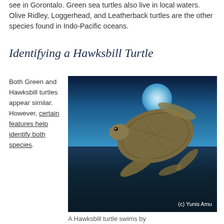see in Gorontalo. Green sea turtles also live in local waters. Olive Ridley, Loggerhead, and Leatherback turtles are the other species found in Indo-Pacific oceans.
Identifying a Hawksbill Turtle
Both Green and Hawksbill turtles appear similar. However, certain features help identify both species.
[Figure (photo): Underwater photograph of a Hawksbill turtle swimming near coral reef with bright blue water and light source visible, credit: (c) Yunis Amu]
A Hawksbill turtle swims by